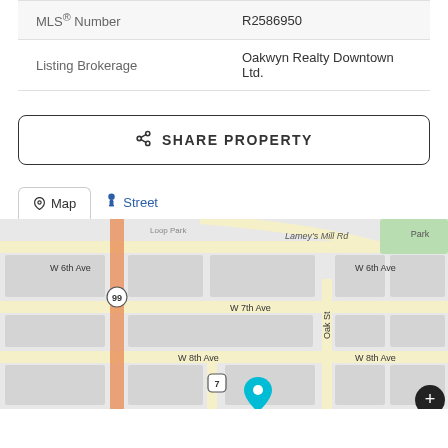| MLS® Number | R2586950 |
| Listing Brokerage | Oakwyn Realty Downtown Ltd. |
SHARE PROPERTY
[Figure (map): Street map showing location near W 6th Ave, W 7th Ave, W 8th Ave, Oak St, Lamey's Mill Rd, with route 99 and route 7, and a map pin marker. Map and Street view toggle buttons shown.]